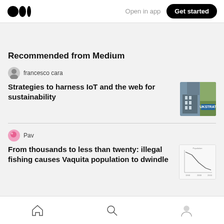Medium logo | Open in app | Get started
Recommended from Medium
francesco cara
Strategies to harness IoT and the web for sustainability
[Figure (photo): Thumbnail image of a building with UKSTRAT signage]
Pav
From thousands to less than twenty: illegal fishing causes Vaquita population to dwindle
[Figure (continuous-plot): Small line chart thumbnail showing declining population trend]
Home | Search | Profile